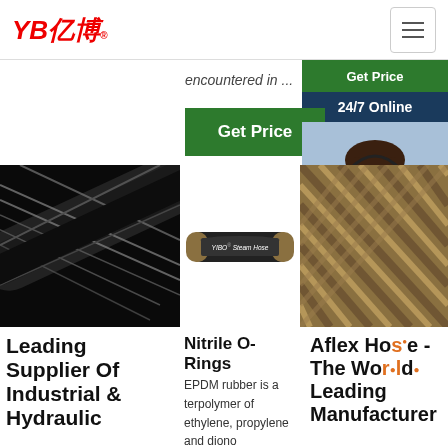YB亿博® — Logo and hamburger menu navigation
encountered in ...
Get Price
24/7 Online
Get Price
[Figure (photo): Customer service representative wearing headset, smiling]
Click here for free chat !
QUOTATION
[Figure (photo): Close-up of black hydraulic hose with wire braid reinforcement]
[Figure (photo): YIBO Steam Hose product image on white background]
[Figure (photo): Braided hose product close-up]
Leading Supplier Of Industrial & Hydraulic
Nitrile O-Rings
EPDM rubber is a terpolymer of ethylene, propylene and diono
Aflex Hose - The World Leading Manufacturer